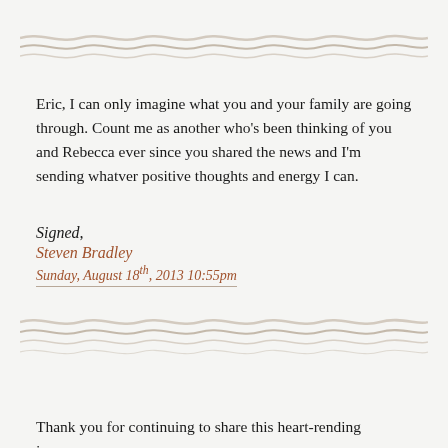[Figure (illustration): Decorative wavy horizontal divider lines in tan/gray color at top of page]
Eric, I can only imagine what you and your family are going through. Count me as another who's been thinking of you and Rebecca ever since you shared the news and I'm sending whatver positive thoughts and energy I can.
Signed,
Steven Bradley
Sunday, August 18th, 2013 10:55pm
[Figure (illustration): Decorative wavy horizontal divider lines in tan/gray color at bottom of page]
Thank you for continuing to share this heart-rending journey